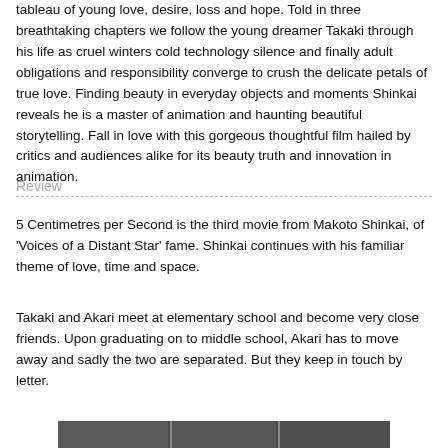tableau of young love, desire, loss and hope. Told in three breathtaking chapters we follow the young dreamer Takaki through his life as cruel winters cold technology silence and finally adult obligations and responsibility converge to crush the delicate petals of true love. Finding beauty in everyday objects and moments Shinkai reveals he is a master of animation and haunting beautiful storytelling. Fall in love with this gorgeous thoughtful film hailed by critics and audiences alike for its beauty truth and innovation in animation.
Review
5 Centimetres per Second is the third movie from Makoto Shinkai, of 'Voices of a Distant Star' fame. Shinkai continues with his familiar theme of love, time and space.
Takaki and Akari meet at elementary school and become very close friends. Upon graduating on to middle school, Akari has to move away and sadly the two are separated. But they keep in touch by letter.
[Figure (photo): A dark horizontal strip at the bottom of the page showing a partial image from the film 5 Centimetres per Second.]